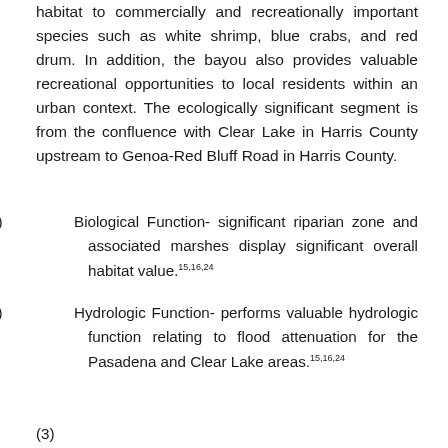habitat to commercially and recreationally important species such as white shrimp, blue crabs, and red drum. In addition, the bayou also provides valuable recreational opportunities to local residents within an urban context. The ecologically significant segment is from the confluence with Clear Lake in Harris County upstream to Genoa-Red Bluff Road in Harris County.
(1) Biological Function- significant riparian zone and associated marshes display significant overall habitat value.15,16,24
(2) Hydrologic Function- performs valuable hydrologic function relating to flood attenuation for the Pasadena and Clear Lake areas.15,16,24
(3) [cut off at bottom of page]